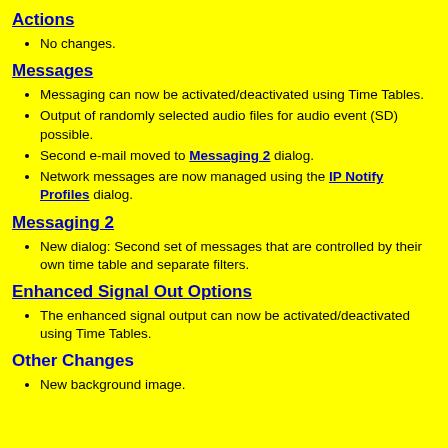Actions
No changes.
Messages
Messaging can now be activated/deactivated using Time Tables.
Output of randomly selected audio files for audio event (SD) possible.
Second e-mail moved to Messaging 2 dialog.
Network messages are now managed using the IP Notify Profiles dialog.
Messaging 2
New dialog: Second set of messages that are controlled by their own time table and separate filters.
Enhanced Signal Out Options
The enhanced signal output can now be activated/deactivated using Time Tables.
Other Changes
New background image.